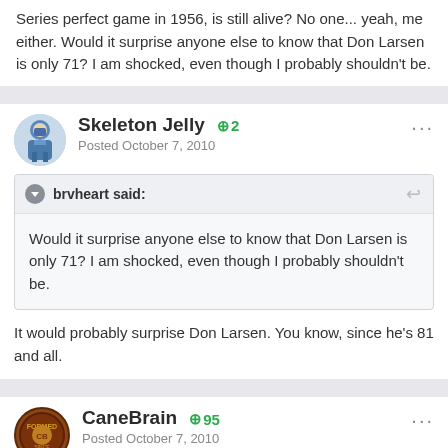Series perfect game in 1956, is still alive? No one... yeah, me either. Would it surprise anyone else to know that Don Larsen is only 71? I am shocked, even though I probably shouldn't be.
Skeleton Jelly +2 Posted October 7, 2010
brvheart said: Would it surprise anyone else to know that Don Larsen is only 71? I am shocked, even though I probably shouldn't be.
It would probably surprise Don Larsen. You know, since he's 81 and all.
CaneBrain +95 Posted October 7, 2010